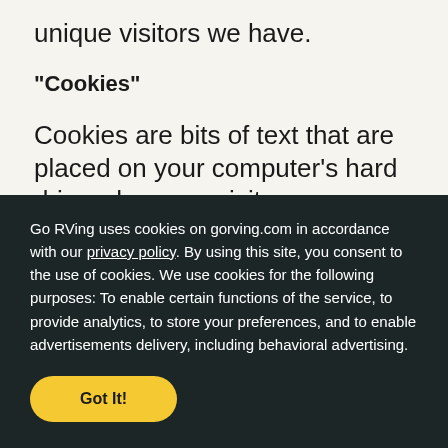unique visitors we have.
"Cookies"
Cookies are bits of text that are placed on your computer's hard drive when you visit
Go RVing uses cookies on gorving.com in accordance with our privacy policy. By using this site, you consent to the use of cookies. We use cookies for the following purposes: To enable certain functions of the service, to provide analytics, to store your preferences, and to enable advertisements delivery, including behavioral advertising.
Got It!